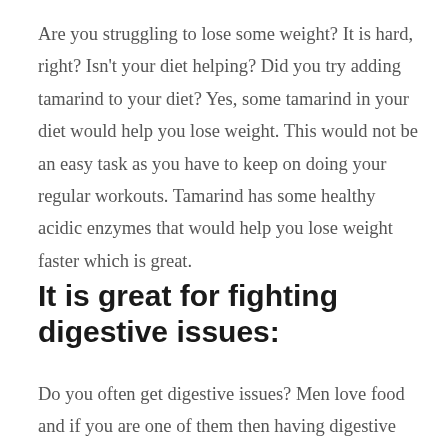Are you struggling to lose some weight? It is hard, right? Isn't your diet helping? Did you try adding tamarind to your diet? Yes, some tamarind in your diet would help you lose weight. This would not be an easy task as you have to keep on doing your regular workouts. Tamarind has some healthy acidic enzymes that would help you lose weight faster which is great.
It is great for fighting digestive issues:
Do you often get digestive issues? Men love food and if you are one of them then having digestive